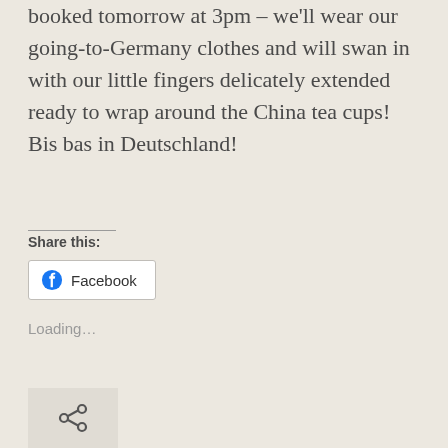booked tomorrow at 3pm – we'll wear our going-to-Germany clothes and will swan in with our little fingers delicately extended ready to wrap around the China tea cups! Bis bas in Deutschland!
Share this:
[Figure (other): Facebook share button with Facebook logo icon]
Loading...
[Figure (other): Share/link icon in a light grey box]